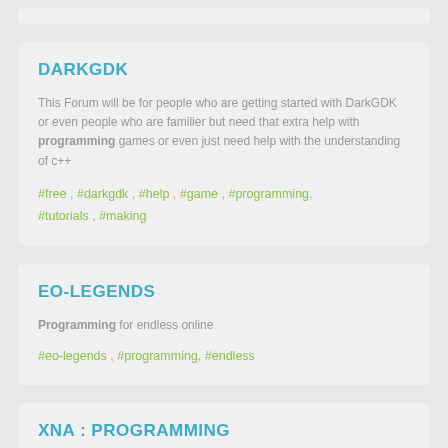DARKGDK
This Forum will be for people who are getting started with DarkGDK or even people who are familier but need that extra help with programming games or even just need help with the understanding of c++
#free , #darkgdk , #help , #game , #programming, #tutorials , #making
EO-LEGENDS
Programming for endless online
#eo-legends , #programming, #endless
XNA : PROGRAMMING